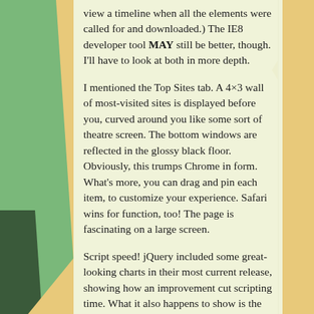view a timeline when all the elements were called for and downloaded.) The IE8 developer tool MAY still be better, though. I'll have to look at both in more depth.
I mentioned the Top Sites tab. A 4×3 wall of most-visited sites is displayed before you, curved around you like some sort of theatre screen. The bottom windows are reflected in the glossy black floor. Obviously, this trumps Chrome in form. What's more, you can drag and pin each item, to customize your experience. Safari wins for function, too! The page is fascinating on a large screen.
Script speed! jQuery included some great-looking charts in their most current release, showing how an improvement cut scripting time. What it also happens to show is the difference in scripting speeds between browsers. Keep in mind that each speed has some margin of change between different functions: